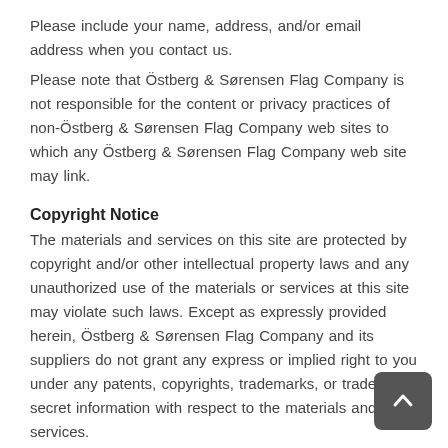Please include your name, address, and/or email address when you contact us.
Please note that Östberg & Sørensen Flag Company is not responsible for the content or privacy practices of non-Östberg & Sørensen Flag Company web sites to which any Östberg & Sørensen Flag Company web site may link.
Copyright Notice
The materials and services on this site are protected by copyright and/or other intellectual property laws and any unauthorized use of the materials or services at this site may violate such laws. Except as expressly provided herein, Östberg & Sørensen Flag Company and its suppliers do not grant any express or implied right to you under any patents, copyrights, trademarks, or trade secret information with respect to the materials and services.
Except as specifically permitted herein, no portion of the information or documents on this site may be reproduced in any form or by any means without the prior written permission